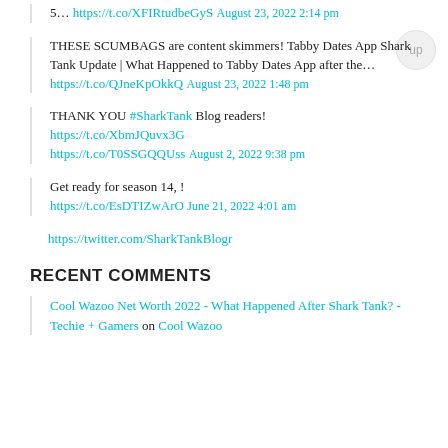5… https://t.co/XFIRtudbeGyS August 23, 2022 2:14 pm
THESE SCUMBAGS are content skimmers! Tabby Dates App Shark Tank Update | What Happened to Tabby Dates App after the… https://t.co/QJneKpOkkQ August 23, 2022 1:48 pm
THANK YOU #SharkTank Blog readers! https://t.co/XbmJQuvx3G https://t.co/T0SSGQQUss August 2, 2022 9:38 pm
Get ready for season 14, ! https://t.co/EsDTIZwArO June 21, 2022 4:01 am
https://twitter.com/SharkTankBlogr
RECENT COMMENTS
Cool Wazoo Net Worth 2022 - What Happened After Shark Tank? - Techie + Gamers on Cool Wazoo